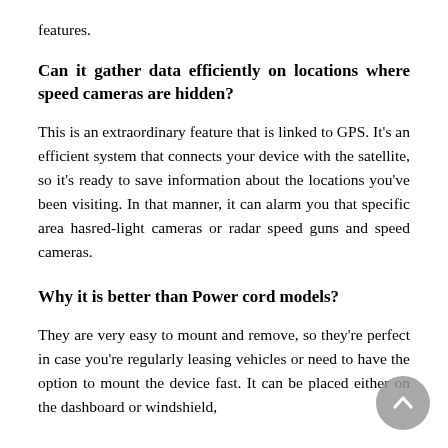features.
Can it gather data efficiently on locations where speed cameras are hidden?
This is an extraordinary feature that is linked to GPS. It’s an efficient system that connects your device with the satellite, so it’s ready to save information about the locations you’ve been visiting. In that manner, it can alarm you that specific area hasred-light cameras or radar speed guns and speed cameras.
Why it is better than Power cord models?
They are very easy to mount and remove, so they’re perfect in case you’re regularly leasing vehicles or need to have the option to mount the device fast. It can be placed either on the dashboard or windshield,